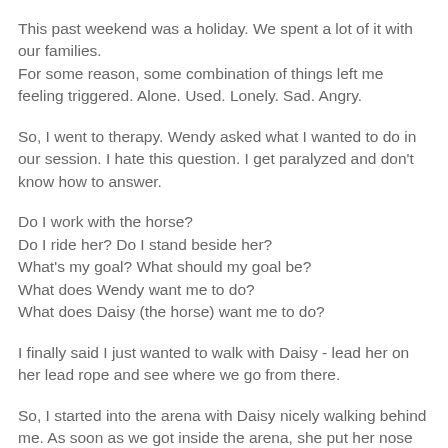This past weekend was a holiday. We spent a lot of it with our families.
For some reason, some combination of things left me feeling triggered. Alone. Used. Lonely. Sad. Angry.
So, I went to therapy. Wendy asked what I wanted to do in our session. I hate this question. I get paralyzed and don't know how to answer.
Do I work with the horse?
Do I ride her? Do I stand beside her?
What's my goal? What should my goal be?
What does Wendy want me to do?
What does Daisy (the horse) want me to do?
I finally said I just wanted to walk with Daisy - lead her on her lead rope and see where we go from there.
So, I started into the arena with Daisy nicely walking behind me. As soon as we got inside the arena, she put her nose down and drug me around.